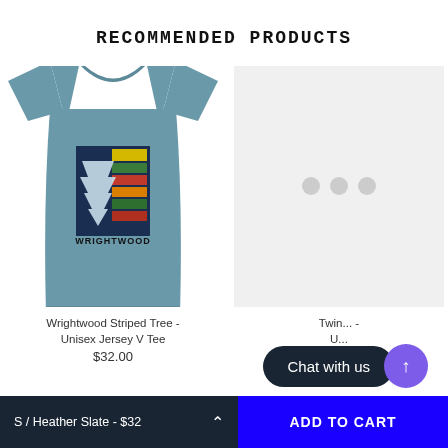RECOMMENDED PRODUCTS
[Figure (photo): Wrightwood Striped Tree Unisex Jersey V Tee shirt in heather slate color, featuring a pine tree graphic with colorful horizontal stripes and the word WRIGHTWOOD]
Wrightwood Striped Tree - Unisex Jersey V Tee
$32.00
[Figure (photo): Loading placeholder with three gray dots on light gray background for a second product]
Twin ... -
U...
$32.00
S / Heather Slate - $32
ADD TO CART